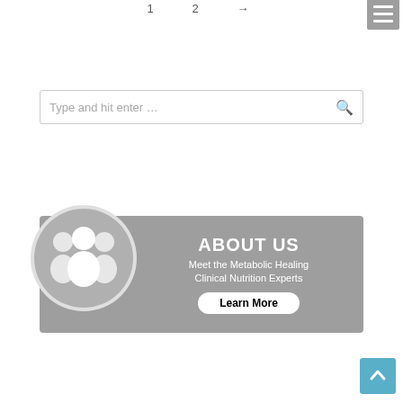[Figure (screenshot): Navigation arrows and hamburger menu icon at top of page]
[Figure (screenshot): Search bar with placeholder text 'Type and hit enter...' and search icon]
[Figure (illustration): About Us banner with group of people icon circle on left, gray background, 'ABOUT US' title, subtitle 'Meet the Metabolic Healing Clinical Nutrition Experts', and 'Learn More' button]
[Figure (illustration): Integrative Nutrition banner with two people shaking hands icon on left, blue background, 'INTEGRATIVE NUTRITION' title, subtitle 'Private health consultations Effective strategies', and 'Learn More' button]